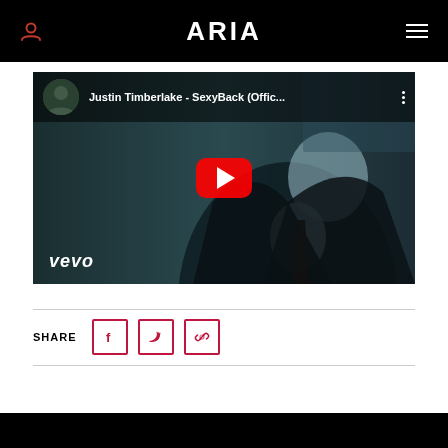ARIA
[Figure (screenshot): YouTube video thumbnail for Justin Timberlake - SexyBack (Official...) with play button and vevo watermark]
SHARE
[Figure (other): Social share icons: Facebook, Twitter, Link/copy]